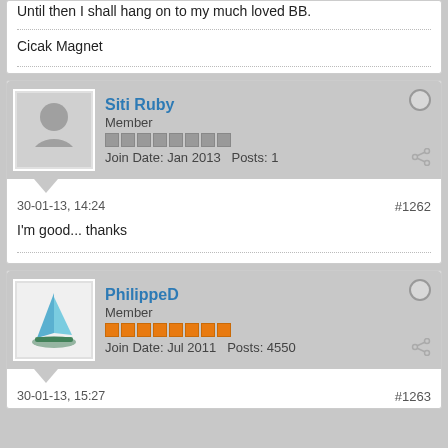Until then I shall hang on to my much loved BB.
Cicak Magnet
Siti Ruby
Member
Join Date: Jan 2013  Posts: 1
30-01-13, 14:24
#1262
I'm good... thanks
PhilippeD
Member
Join Date: Jul 2011  Posts: 4550
30-01-13, 15:27
#1263